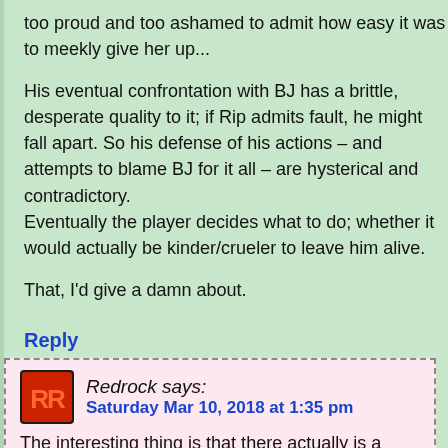too proud and too ashamed to admit how easy it was to meekly give her up...
His eventual confrontation with BJ has a brittle, desperate quality to it; if Rip admits fault, he might fall apart. So his defense of his actions – and attempts to blame BJ for it all – are hysterical and contradictory.
Eventually the player decides what to do; whether it would actually be kinder/crueler to leave him alive.
That, I'd give a damn about.
Reply
[Figure (logo): Redrock avatar logo with red RR letters on dark background]
Redrock says:
Saturday Mar 10, 2018 at 1:35 pm
The interesting thing is that there actually is a moment where BJ's dad gets a shade of complexity – the flashback where he gives BJ the BB gun and the